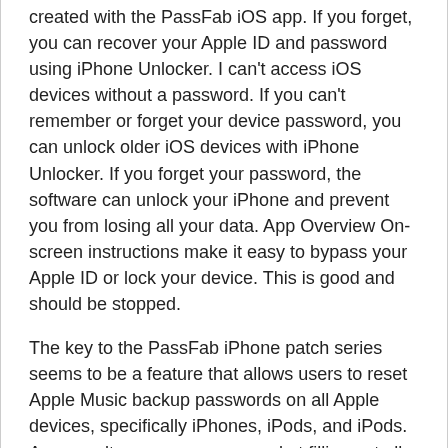created with the PassFab iOS app. If you forget, you can recover your Apple ID and password using iPhone Unlocker. I can't access iOS devices without a password. If you can't remember or forget your device password, you can unlock older iOS devices with iPhone Unlocker. If you forget your password, the software can unlock your iPhone and prevent you from losing all your data. App Overview On-screen instructions make it easy to bypass your Apple ID or lock your device. This is good and should be stopped.
The key to the PassFab iPhone patch series seems to be a feature that allows users to reset Apple Music backup passwords on all Apple devices, specifically iPhones, iPods, and iPods. As a result, users are very good at filling out all the information related to playback, so users can easily access any record here from mobile and email. Email and contact lists, as well as personal inboxes, web, phone, apps, and more. It allows users to quickly scan any scan they want and find the correct password in case users forget it. Therefore, users can quickly access another Apple device using another compatible device. This allows users to unlock